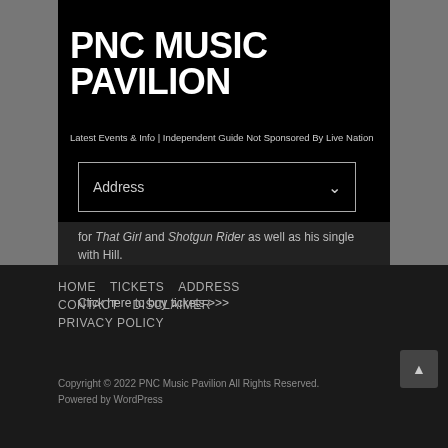PNC MUSIC PAVILION
Latest Events & Info | Independent Guide Not Sponsored By Live Nation
Address
for That Girl and Shotgun Rider as well as his single with Hill.
Click here to buy tickets >>>
HOME   TICKETS   ADDRESS   CONTACT   DISCLAIMER   PRIVACY POLICY
Copyright © 2022 PNC Music Pavilion All Rights Reserved.
Powered by WordPress